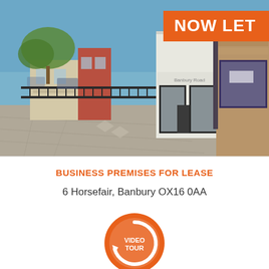[Figure (photo): Exterior photo of a stone-fronted commercial shop premises at 6 Horsefair, Banbury. The building has a large display window with dark purple/navy trim, a paved pedestrian area in front, and a blue sky with trees in the background. A 'NOW LET' orange badge appears in the top-right corner of the image.]
NOW LET
BUSINESS PREMISES FOR LEASE
6 Horsefair, Banbury OX16 0AA
[Figure (logo): Orange circular video tour icon with a play/refresh arrow symbol and text 'VIDEO TOUR' in the center]